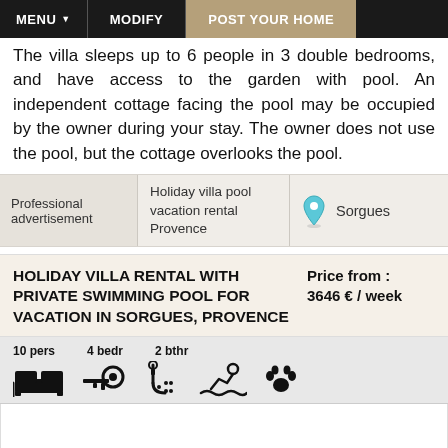MENU | MODIFY | POST YOUR HOME
The villa sleeps up to 6 people in 3 double bedrooms, and have access to the garden with pool. An independent cottage facing the pool may be occupied by the owner during your stay. The owner does not use the pool, but the cottage overlooks the pool.
Professional advertisement	Holiday villa pool vacation rental Provence	Sorgues
HOLIDAY VILLA RENTAL WITH PRIVATE SWIMMING POOL FOR VACATION IN SORGUES, PROVENCE
Price from : 3646 € / week
10 pers  4 bedr  2 bthr